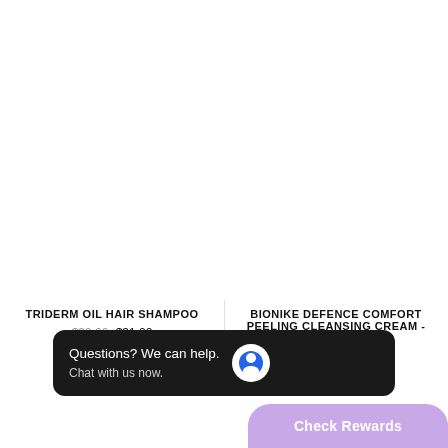OUT
TRIDERM OIL HAIR SHAMPOO
$39.00  $31.20
BIONIKE DEFENCE COMFORT PEELING CLEANSING CREAM - TUBE 150 ML
47.20
Questions? We can help.
Chat with us now.
Check Rewards